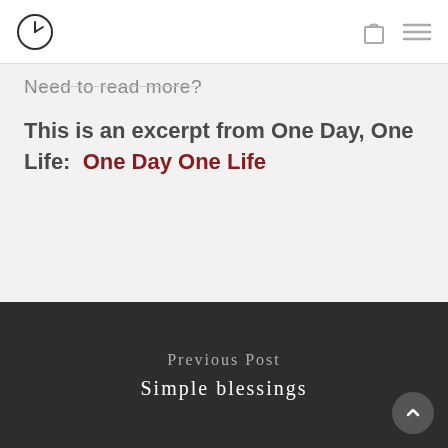Logo icon, bag icon, menu icon
Need to read more?
This is an excerpt from One Day, One Life:  One Day One Life
Previous Post
Simple blessings